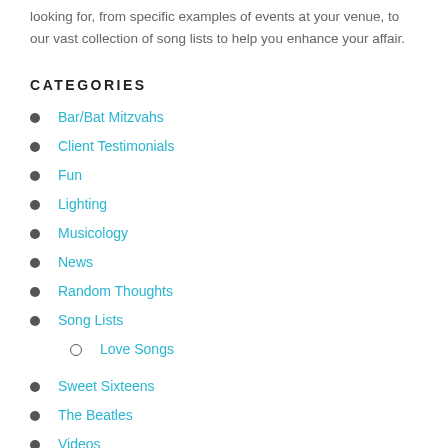looking for, from specific examples of events at your venue, to our vast collection of song lists to help you enhance your affair.
CATEGORIES
Bar/Bat Mitzvahs
Client Testimonials
Fun
Lighting
Musicology
News
Random Thoughts
Song Lists
Love Songs
Sweet Sixteens
The Beatles
Videos
Weddings